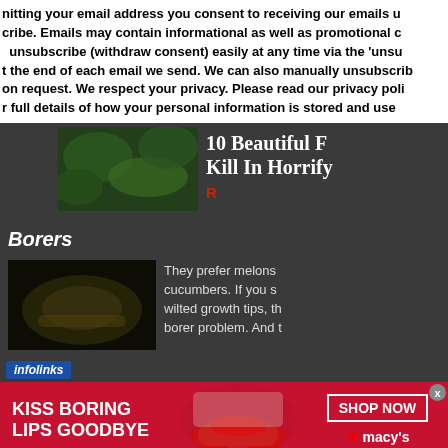nitting your email address you consent to receiving our emails u... cribe. Emails may contain informational as well as promotional c... unsubscribe (withdraw consent) easily at any time via the 'unsu... t the end of each email we send. We can also manually unsubscrib... on request. We respect your privacy. Please read our privacy poli... r full details of how your personal information is stored and use...
[Figure (photo): Dark green foliage/plant photo]
10 Beautiful F... Kill In Horrify...
R...
Borers
[Figure (photo): Dark close-up photo of a borer insect/larva]
They prefer melons... cucumbers. If you s... wilted growth tips, th... borer problem. And ...
[Figure (infographic): Infolinks advertisement banner - Kiss Boring Lips Goodbye - Shop Now - Macys]
infolinks